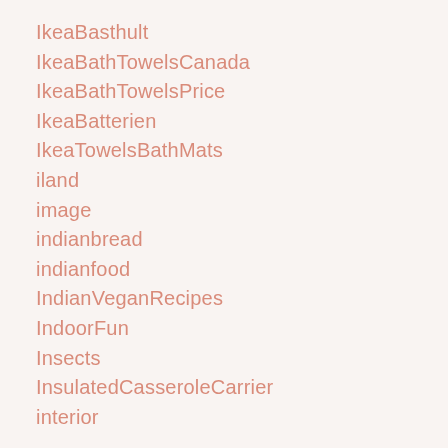IkeaBasthult
IkeaBathTowelsCanada
IkeaBathTowelsPrice
IkeaBatterien
IkeaTowelsBathMats
iland
image
indianbread
indianfood
IndianVeganRecipes
IndoorFun
Insects
InsulatedCasseroleCarrier
interior